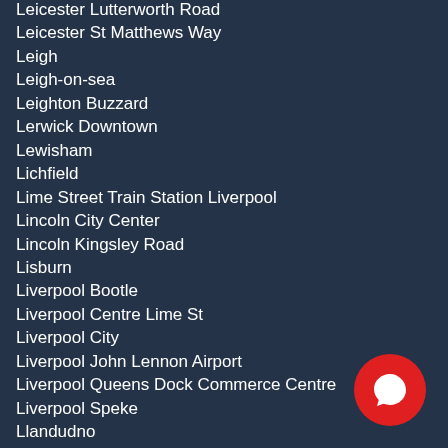Leicester Lutterworth Road
Leicester St Matthews Way
Leigh
Leigh-on-sea
Leighton Buzzard
Lerwick Downtown
Lewisham
Lichfield
Lime Street Train Station Liverpool
Lincoln City Center
Lincoln Kingsley Road
Lisburn
Liverpool Bootle
Liverpool Centre Lime St
Liverpool City
Liverpool John Lennon Airport
Liverpool Queens Dock Commerce Centre
Liverpool Speke
Llandudno
London Acton
London Barking
London Battersea
London Bloomsbury Square
London Bow